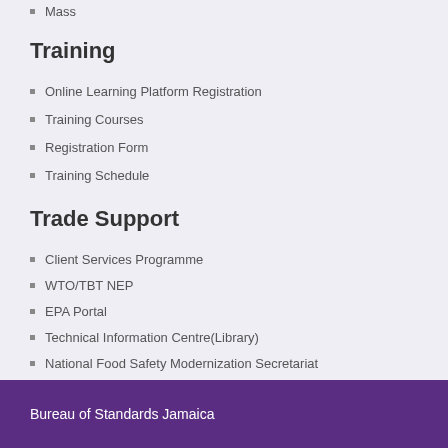Mass
Training
Online Learning Platform Registration
Training Courses
Registration Form
Training Schedule
Trade Support
Client Services Programme
WTO/TBT NEP
EPA Portal
Technical Information Centre(Library)
National Food Safety Modernization Secretariat
Bamboo Industry Programme
Bureau of Standards Jamaica